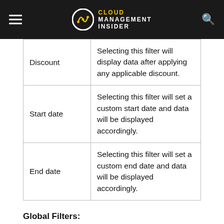Cloud Management Insider
| Discount | Selecting this filter will display data after applying any applicable discount. |
| Start date | Selecting this filter will set a custom start date and data will be displayed accordingly. |
| End date | Selecting this filter will set a custom end date and data will be displayed accordingly. |
Global Filters:
|  | Selecting this filter will allow the user to view data |